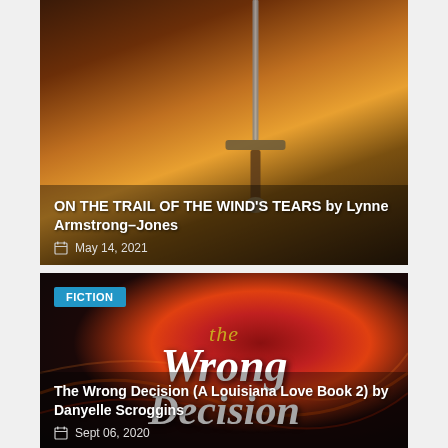[Figure (photo): Book cover image for 'On the Trail of the Wind's Tears' by Lynne Armstrong-Jones, showing a sword against a dark warm-toned background]
ON THE TRAIL OF THE WIND'S TEARS by Lynne Armstrong-Jones
May 14, 2021
[Figure (photo): Book cover image for 'The Wrong Decision (A Louisiana Love Book 2)' by Danyelle Scroggins, showing stylized script title text over a dark red/orange dramatic background]
FICTION
The Wrong Decision (A Louisiana Love Book 2) by Danyelle Scroggins
Sept 06, 2020